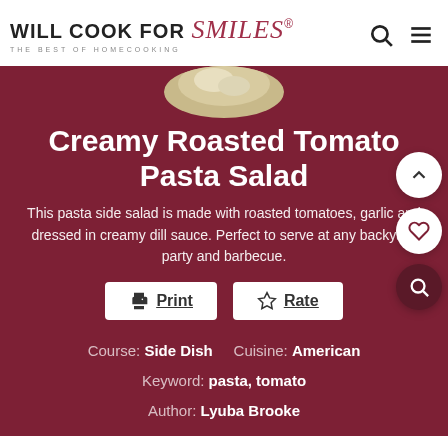WILL COOK FOR Smiles® THE BEST OF HOMECOOKING
[Figure (photo): Partial view of food dish in circular crop at top of card]
Creamy Roasted Tomato Pasta Salad
This pasta side salad is made with roasted tomatoes, garlic and dressed in creamy dill sauce. Perfect to serve at any backyard party and barbecue.
Print   Rate
Course: Side Dish   Cuisine: American   Keyword: pasta, tomato   Author: Lyuba Brooke